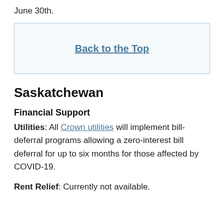June 30th.
Back to the Top
Saskatchewan
Financial Support
Utilities: All Crown utilities will implement bill-deferral programs allowing a zero-interest bill deferral for up to six months for those affected by COVID-19.
Rent Relief: Currently not available.